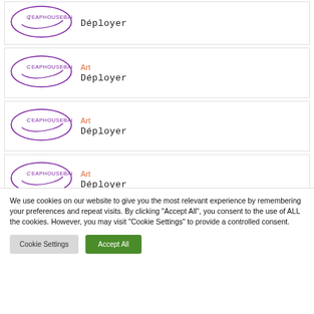Déployer
Art
Déployer
Art
Déployer
Art
Déployer
Art
We use cookies on our website to give you the most relevant experience by remembering your preferences and repeat visits. By clicking "Accept All", you consent to the use of ALL the cookies. However, you may visit "Cookie Settings" to provide a controlled consent.
Cookie Settings
Accept All